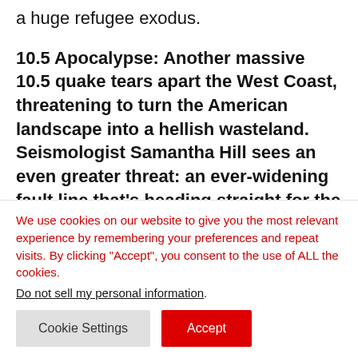a huge refugee exodus.
10.5 Apocalypse: Another massive 10.5 quake tears apart the West Coast, threatening to turn the American landscape into a hellish wasteland. Seismologist Samantha Hill sees an even greater threat: an ever-widening fault line that’s heading straight for the country’s
We use cookies on our website to give you the most relevant experience by remembering your preferences and repeat visits. By clicking “Accept”, you consent to the use of ALL the cookies.
Do not sell my personal information.
Cookie Settings   Accept